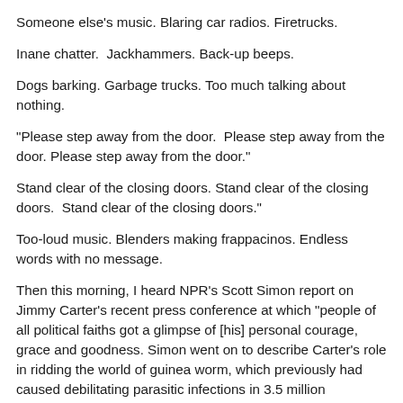Someone else's music. Blaring car radios. Firetrucks.
Inane chatter.  Jackhammers. Back-up beeps.
Dogs barking. Garbage trucks. Too much talking about nothing.
"Please step away from the door.  Please step away from the door. Please step away from the door."
Stand clear of the closing doors. Stand clear of the closing doors.  Stand clear of the closing doors."
Too-loud music. Blenders making frappacinos. Endless words with no message.
Then this morning, I heard NPR's Scott Simon report on Jimmy Carter's recent press conference at which "people of all political faiths got a glimpse of [his] personal courage, grace and goodness. Simon went on to describe Carter's role in ridding the world of guinea worm, which previously had caused debilitating parasitic infections in 3.5 million